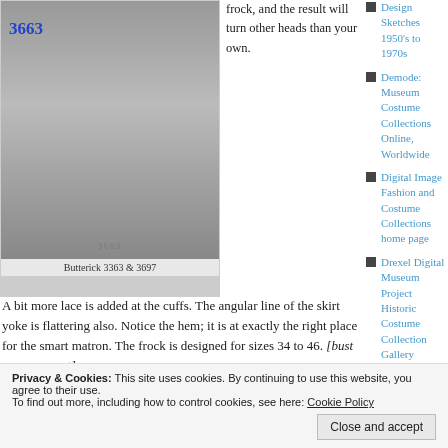[Figure (photo): Vintage black and white photo of a woman wearing a 1940s-style dress with full skirt, labeled 3663]
Butterick 3363 & 3697
frock, and the result will turn other heads than your own.  A bit more lace is added at the cuffs. The angular line of the skirt yoke is flattering also. Notice the hem; it is at exactly the right place for the smart matron. The frock is designed for sizes 34 to 46. [bust measurement]
Design Sketches 1950's to 1970s
Demode: Museum Costume Collections Online, Worldwide
Digital Image Fashion and Costume Collections home page
Drexel Digital Museum Project Historic Costume Collection Gallery
Fashion Collection
Privacy & Cookies: This site uses cookies. By continuing to use this website, you agree to their use.
To find out more, including how to control cookies, see here: Cookie Policy